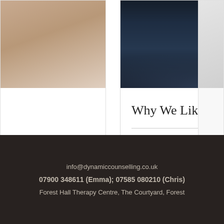[Figure (photo): Blog post card showing a bat flying against a dark cloudy sky. Card includes title 'Why We Like Getting Scared', view count of 54, comment count of 0, and a heart/like icon.]
Why We Like Getting Scared
54  0
[Figure (infographic): Three navigation dots, first dot filled/active (brown), second and third gray]
info@dynamiccounselling.co.uk
07900 348611 (Emma); 07585 080210 (Chris)
Forest Hall Therapy Centre, The Courtyard, Forest